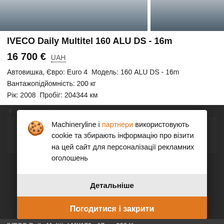[Figure (photo): Two side-by-side vehicle photos (IVECO Daily with aerial work platform) cropped at top]
IVECO Daily Multitel 160 ALU DS - 16m
16 700 €  UAH
Автовишка, Євро: Euro 4  Модель: 160 ALU DS - 16m
Вантажопідйомність: 200 кг
Рік: 2008  Пробіг: 204344 км
Machineryline і партнери використовують cookie та збирають інформацію про візити на цей сайт для персоналізації рекламних оголошень
Детальніше
Погодитися і закрити
IVECO Daily Multitel MX178 - 17m - 200 Kg